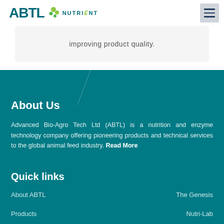[Figure (logo): ABTL Nutrient logo with teal text and green circles graphic]
improving product quality.
About Us
Advanced Bio-Agro Tech Ltd (ABTL) is a nutrition and enzyme technology company offering pioneering products and technical services to the global animal feed industry. Read More
Quick links
About ABTL
The Genesis
Products
Nutri-Lab